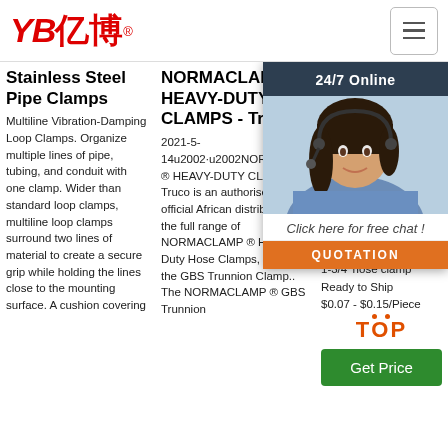[Figure (logo): YB亿博 logo in red with registered trademark symbol]
[Figure (infographic): Hamburger menu icon button]
Stainless Steel Pipe Clamps
Multiline Vibration-Damping Loop Clamps. Organize multiple lines of pipe, tubing, and conduit with one clamp. Wider than standard loop clamps, multiline loop clamps surround two lines of material to create a secure grip while holding the lines close to the mounting surface. A cushion covering
NORMACLAMP HEAVY-DUTY CLAMPS - Truco
2021-5-14u2002·u2002NORMACLAMP ® HEAVY-DUTY CLAMPS. Truco is an authorised, official African distributor of the full range of NORMACLAMP ® Heavy Duty Hose Clamps, including the GBS Trunnion Clamp.. The NORMACLAMP ® GBS Trunnion
Ge Cl Ge Cl Fr
1-3/4' hose clamp Ready to Ship $0.07 - $0.15/Piece
[Figure (photo): Customer service agent with headset, 24/7 Online chat widget with dark header and orange QUOTATION button]
Get Price